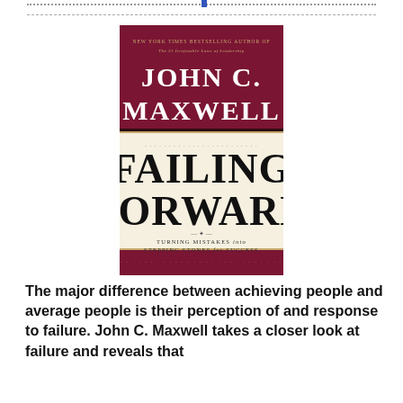[Figure (photo): Book cover of 'Failing Forward: Turning Mistakes into Stepping Stones for Success' by John C. Maxwell. The cover has a dark crimson/maroon background with gold lettering for the author's name at the top, large black serif text 'FAILING FORWARD' on a cream background in the middle, and subtitle text 'Turning Mistakes into Stepping Stones for Success' below.]
The major difference between achieving people and average people is their perception of and response to failure. John C. Maxwell takes a closer look at failure and reveals that